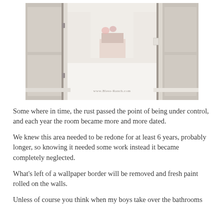[Figure (photo): Interior hallway/corridor of a home with white walls, white painted wooden doors, white floors, and a glimpse into a bedroom with floral bedding. Watermark reads 'www.Bless-Ranch.com' at the bottom.]
Some where in time, the rust passed the point of being under control, and each year the room became more and more dated.
We knew this area needed to be redone for at least 6 years, probably longer, so knowing it needed some work instead it became completely neglected.
What's left of a wallpaper border will be removed and fresh paint rolled on the walls.
Unless of course you think when my boys take over the bathrooms